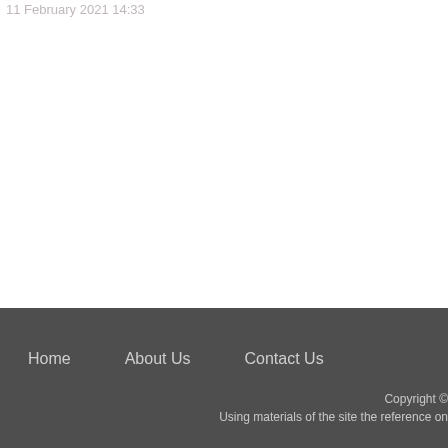11 February 2021 14:33
Home   About Us   Contact Us
Copyright ©
Using materials of the site the reference on